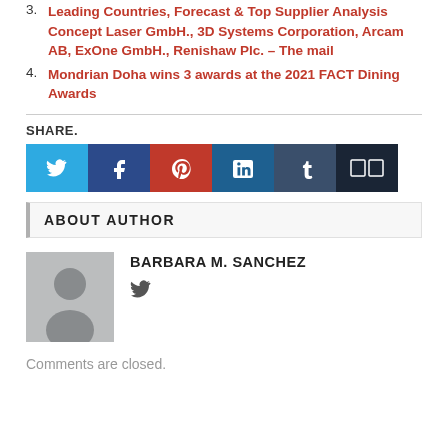3. Leading Countries, Forecast & Top Supplier Analysis Concept Laser GmbH., 3D Systems Corporation, Arcam AB, ExOne GmbH., Renishaw Plc. – The mail
4. Mondrian Doha wins 3 awards at the 2021 FACT Dining Awards
SHARE.
[Figure (other): Row of 6 social media share buttons: Twitter (light blue), Facebook (dark blue), Pinterest (red), LinkedIn (teal blue), Tumblr (slate blue), More (dark navy with two squares icon)]
ABOUT AUTHOR
[Figure (illustration): Generic author avatar placeholder showing a grey silhouette of a person on a grey background]
BARBARA M. SANCHEZ
Comments are closed.